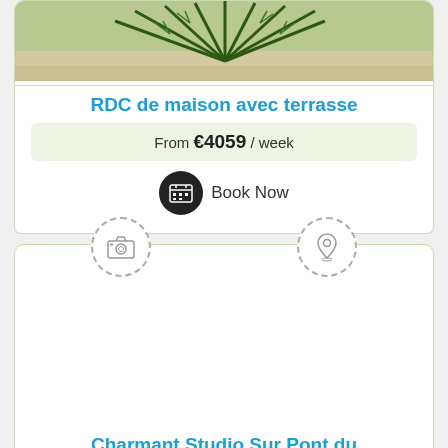[Figure (photo): Photo of a large palm/cycad plant from above, partially cropped]
RDC de maison avec terrasse
From €4059 / week
Book Now
[Figure (illustration): Camera icon in dashed circle and map pin icon in dashed circle, placeholders for photos and location]
Charmant Studio Sur Pont du